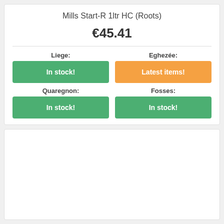Mills Start-R 1ltr HC (Roots)
€45.41
| Liege: | Eghezée: |
| --- | --- |
| In stock! | Latest items! |
| Quaregnon: | Fosses: |
| In stock! | In stock! |